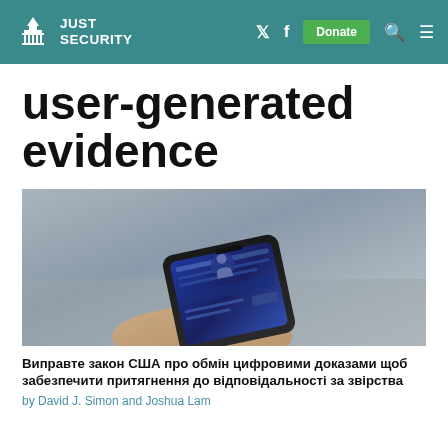JUST SECURITY
user-generated evidence
[Figure (photo): A hand holding a smartphone outdoors, with the phone screen showing a social media or messaging app interface. The background is a grey pavement.]
Виправте закон США про обмін цифровими доказами щоб забезпечити притягнення до відповідальності за звірства
by David J. Simon and Joshua Lam